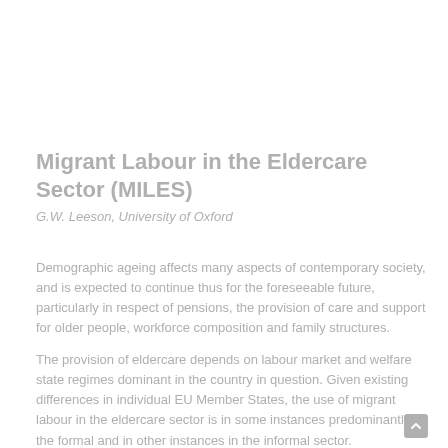Migrant Labour in the Eldercare Sector (MILES)
G.W. Leeson, University of Oxford
Demographic ageing affects many aspects of contemporary society, and is expected to continue thus for the foreseeable future, particularly in respect of pensions, the provision of care and support for older people, workforce composition and family structures.
The provision of eldercare depends on labour market and welfare state regimes dominant in the country in question. Given existing differences in individual EU Member States, the use of migrant labour in the eldercare sector is in some instances predominantly in the formal and in other instances in the informal sector.